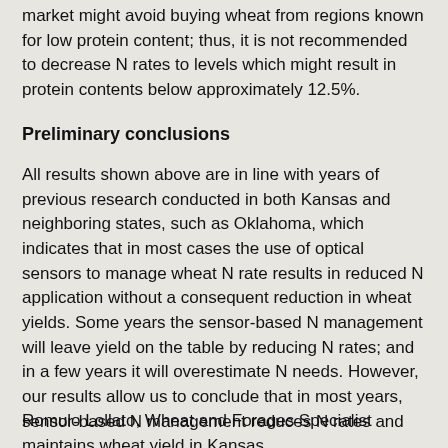market might avoid buying wheat from regions known for low protein content; thus, it is not recommended to decrease N rates to levels which might result in protein contents below approximately 12.5%.
Preliminary conclusions
All results shown above are in line with years of previous research conducted in both Kansas and neighboring states, such as Oklahoma, which indicates that in most cases the use of optical sensors to manage wheat N rate results in reduced N application without a consequent reduction in wheat yields. Some years the sensor-based N management will leave yield on the table by reducing N rates; and in a few years it will overestimate N needs. However, our results allow us to conclude that in most years, sensor-based N management reduces N rates and maintains wheat yield in Kansas.
Romulo Lollato, Wheat and Forages Specialist